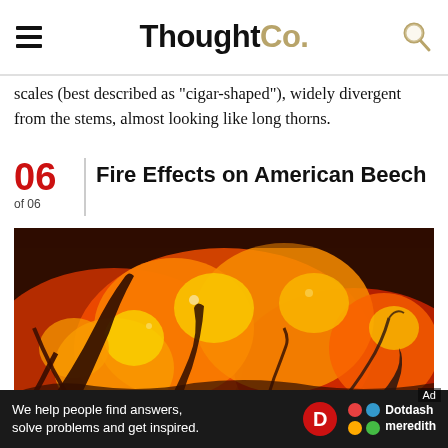ThoughtCo.
scales (best described as "cigar-shaped"), widely divergent from the stems, almost looking like long thorns.
06 of 06 Fire Effects on American Beech
[Figure (photo): Close-up photograph of a large fire with burning branches and intense orange and red flames]
Ad
We help people find answers, solve problems and get inspired. Dotdash meredith